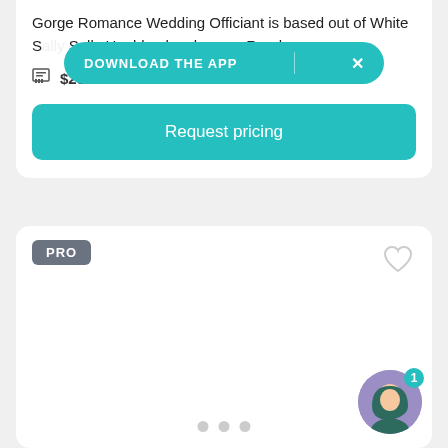Gorge Romance Wedding Officiant is based out of White S... Sally Houlden has been... Read more
$250
Request pricing
[Figure (screenshot): Download the app banner overlay in teal with white text and X close button]
PRO
[Figure (illustration): Heart (favorite) icon outline in light gray, top right of second card]
[Figure (illustration): Chat support avatar with notification badge showing 1, bottom right corner]
[Figure (other): Pagination dots row at bottom of second card]